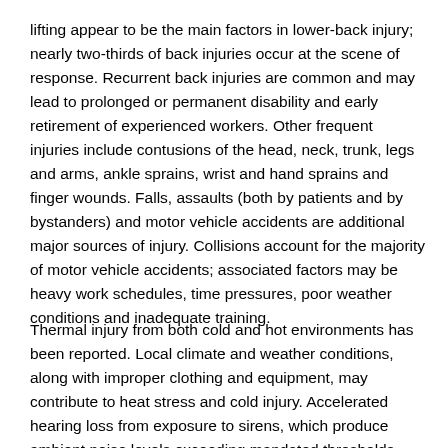lifting appear to be the main factors in lower-back injury; nearly two-thirds of back injuries occur at the scene of response. Recurrent back injuries are common and may lead to prolonged or permanent disability and early retirement of experienced workers. Other frequent injuries include contusions of the head, neck, trunk, legs and arms, ankle sprains, wrist and hand sprains and finger wounds. Falls, assaults (both by patients and by bystanders) and motor vehicle accidents are additional major sources of injury. Collisions account for the majority of motor vehicle accidents; associated factors may be heavy work schedules, time pressures, poor weather conditions and inadequate training.
Thermal injury from both cold and hot environments has been reported. Local climate and weather conditions, along with improper clothing and equipment, may contribute to heat stress and cold injury. Accelerated hearing loss from exposure to sirens, which produce ambient noise levels exceeding mandated thresholds, has also been observed in ambulance